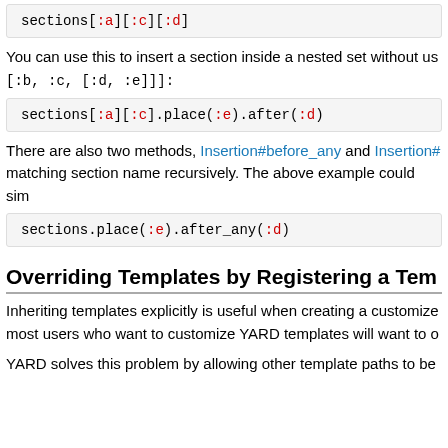sections[:a][:c][:d]
You can use this to insert a section inside a nested set without us [:b, :c, [:d, :e]]]:
sections[:a][:c].place(:e).after(:d)
There are also two methods, Insertion#before_any and Insertion# matching section name recursively. The above example could sim
sections.place(:e).after_any(:d)
Overriding Templates by Registering a Tem
Inheriting templates explicitly is useful when creating a customize most users who want to customize YARD templates will want to o
YARD solves this problem by allowing other template paths to be